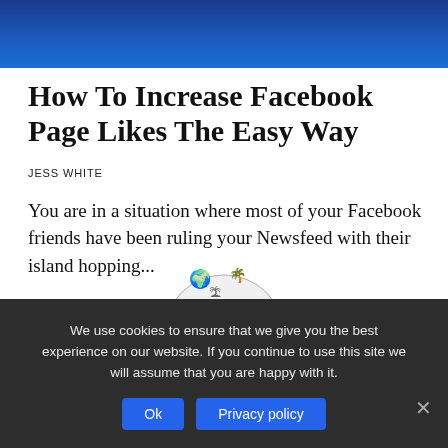[Figure (photo): Blue banner image at the top of the webpage]
How To Increase Facebook Page Likes The Easy Way
JESS WHITE
You are in a situation where most of your Facebook friends have been ruling your Newsfeed with their island hopping...
[Figure (photo): Partial circular image of an illustrated globe visible at the bottom]
We use cookies to ensure that we give you the best experience on our website. If you continue to use this site we will assume that you are happy with it.